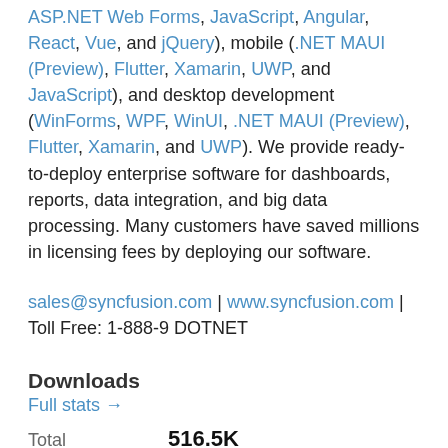ASP.NET Web Forms, JavaScript, Angular, React, Vue, and jQuery), mobile (.NET MAUI (Preview), Flutter, Xamarin, UWP, and JavaScript), and desktop development (WinForms, WPF, WinUI, .NET MAUI (Preview), Flutter, Xamarin, and UWP). We provide ready-to-deploy enterprise software for dashboards, reports, data integration, and big data processing. Many customers have saved millions in licensing fees by deploying our software.
sales@syncfusion.com | www.syncfusion.com | Toll Free: 1-888-9 DOTNET
Downloads
Full stats →
Total    516.5K
Current version    791